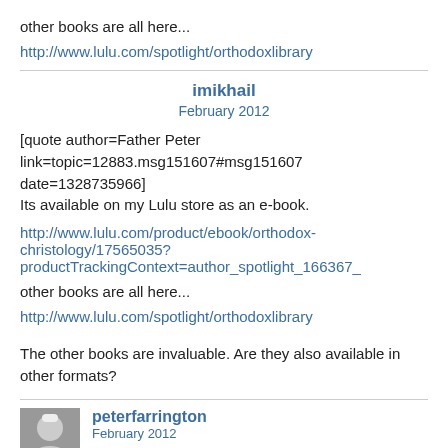other books are all here...
http://www.lulu.com/spotlight/orthodoxlibrary
imikhail
February 2012
[quote author=Father Peter link=topic=12883.msg151607#msg151607 date=1328735966]
Its available on my Lulu store as an e-book.
http://www.lulu.com/product/ebook/orthodox-christology/17565035?productTrackingContext=author_spotlight_166367_
other books are all here...
http://www.lulu.com/spotlight/orthodoxlibrary
The other books are invaluable. Are they also available in other formats?
peterfarrington
February 2012